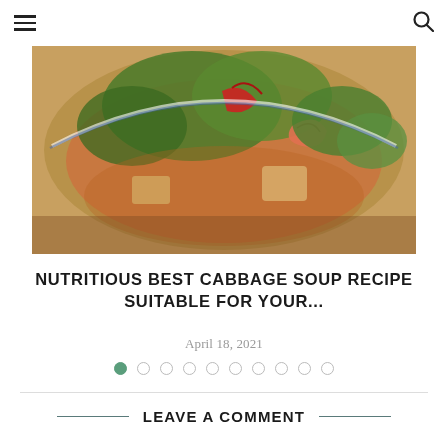☰  🔍
[Figure (photo): A bowl of soup with shrimp, tofu, red chilies, green herbs and vegetables in a broth, served in a blue and white ceramic bowl]
NUTRITIOUS BEST CABBAGE SOUP RECIPE SUITABLE FOR YOUR...
April 18, 2021
[Figure (other): Pagination dots: 10 circles, first one filled green, rest empty]
LEAVE A COMMENT